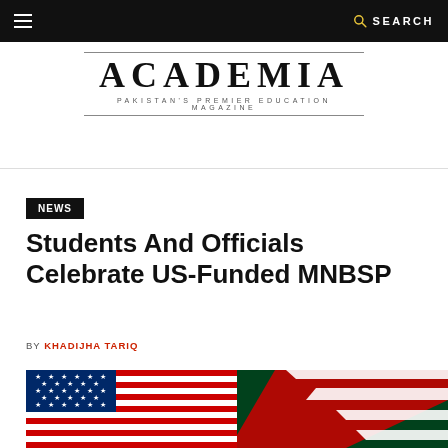≡   SEARCH
[Figure (logo): Academia — Pakistan's Premier Education Magazine logo with horizontal lines above and below]
NEWS
Students And Officials Celebrate US-Funded MNBSP
BY KHADIJHA TARIQ
[Figure (photo): US and Pakistani flags side by side]